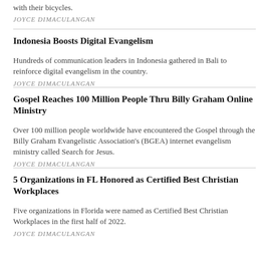with their bicycles.
JOYCE DIMACULANGAN
Indonesia Boosts Digital Evangelism
Hundreds of communication leaders in Indonesia gathered in Bali to reinforce digital evangelism in the country.
JOYCE DIMACULANGAN
Gospel Reaches 100 Million People Thru Billy Graham Online Ministry
Over 100 million people worldwide have encountered the Gospel through the Billy Graham Evangelistic Association's (BGEA) internet evangelism ministry called Search for Jesus.
JOYCE DIMACULANGAN
5 Organizations in FL Honored as Certified Best Christian Workplaces
Five organizations in Florida were named as Certified Best Christian Workplaces in the first half of 2022.
JOYCE DIMACULANGAN